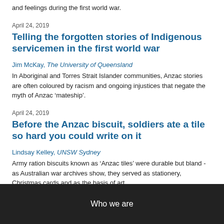and feelings during the first world war.
April 24, 2019
Telling the forgotten stories of Indigenous servicemen in the first world war
Jim McKay, The University of Queensland
In Aboriginal and Torres Strait Islander communities, Anzac stories are often coloured by racism and ongoing injustices that negate the myth of Anzac ‘mateship’.
April 24, 2019
Before the Anzac biscuit, soldiers ate a tile so hard you could write on it
Lindsay Kelley, UNSW Sydney
Army ration biscuits known as ‘Anzac tiles’ were durable but bland - as Australian war archives show, they served as stationery, Christmas cards and as the basis of art.
1 2 3 4 ►
Who we are